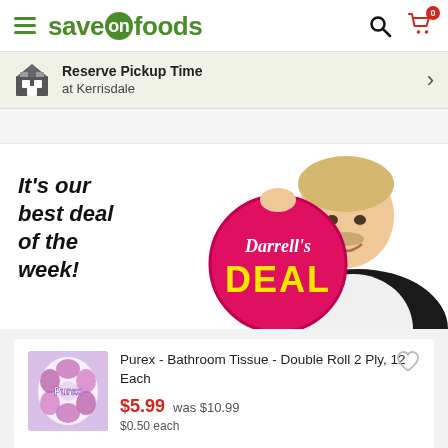[Figure (logo): Save-On-Foods logo with green text and 'on' in a green circle]
Reserve Pickup Time at Kerrisdale
[Figure (illustration): Darrell's Deal promotional banner — man holding a pink circular Darrell's Deal sign, with italic text 'It's our best deal of the week!']
Purex - Bathroom Tissue - Double Roll 2 Ply, 12 Each
$5.99  was $10.99
$0.50 each